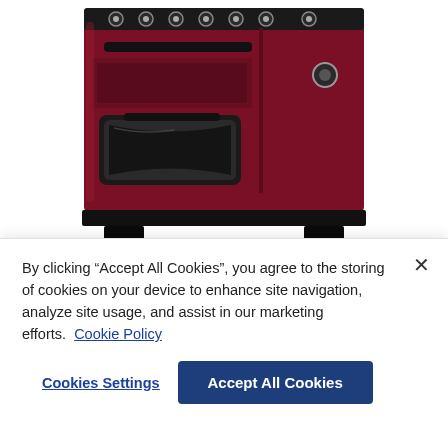[Figure (photo): A dark cranberry/red range cooker with multiple burners on top, two oven compartments, black base and handles, chrome accents, shown against white background.]
Product Code: 117650
By clicking “Accept All Cookies”, you agree to the storing of cookies on your device to enhance site navigation, analyze site usage, and assist in our marketing efforts.  Cookie Policy
Cookies Settings
Accept All Cookies